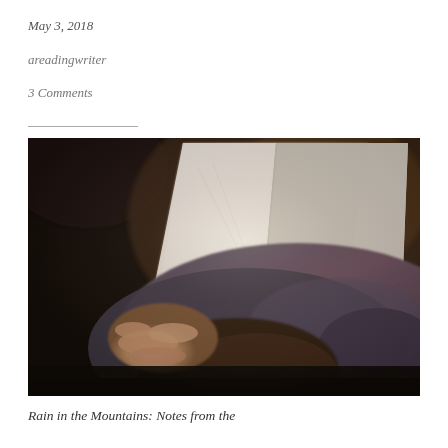May 3, 2018
areadingwriter
3 Comments
[Figure (photo): A person lying down reading a book held open above them, wearing a dark knit sweater/blanket, photographed in dramatic light against a dark background.]
Rain in the Mountains: Notes from the